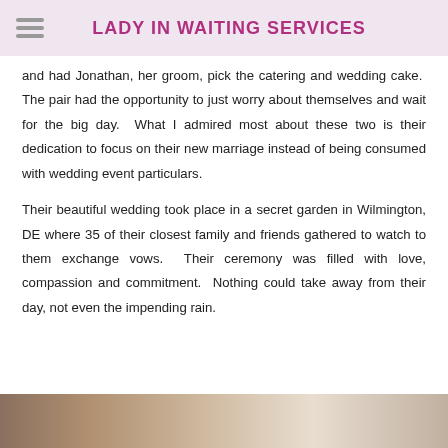LADY IN WAITING SERVICES
and had Jonathan, her groom, pick the catering and wedding cake. The pair had the opportunity to just worry about themselves and wait for the big day. What I admired most about these two is their dedication to focus on their new marriage instead of being consumed with wedding event particulars.
Their beautiful wedding took place in a secret garden in Wilmington, DE where 35 of their closest family and friends gathered to watch to them exchange vows. Their ceremony was filled with love, compassion and commitment. Nothing could take away from their day, not even the impending rain.
[Figure (photo): Bottom portion of a photo showing what appears to be an indoor scene, partially visible at the bottom of the page.]